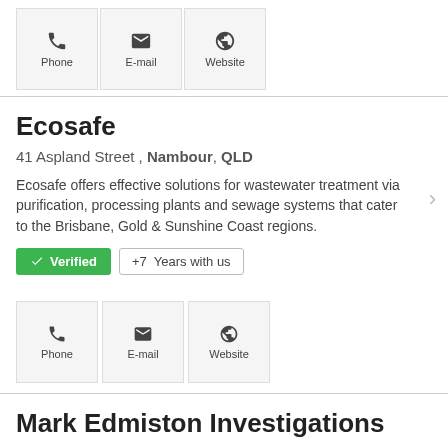Phone | E-mail | Website (contact buttons, top)
Ecosafe
41 Aspland Street , Nambour, QLD
Ecosafe offers effective solutions for wastewater treatment via purification, processing plants and sewage systems that cater to the Brisbane, Gold & Sunshine Coast regions.
✓ Verified  +7 Years with us
Phone | E-mail | Website (contact buttons, Ecosafe)
Mark Edmiston Investigations
P.O Box 2576 Nambour West 4560, Nambour, QLD
Mark Edmiston is an experienced private investigator in Australia offering services in the field of various investigatory like Family Law, Insurance…